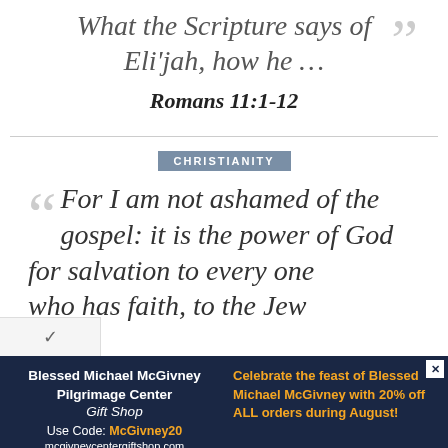What the Scripture says of Eli'jah, how he …
Romans 11:1-12
CHRISTIANITY
For I am not ashamed of the gospel: it is the power of God for salvation to every one who has faith, to the Jew
[Figure (other): Advertisement for Blessed Michael McGivney Pilgrimage Center Gift Shop with promo code McGivney20 for 20% off all orders during August]